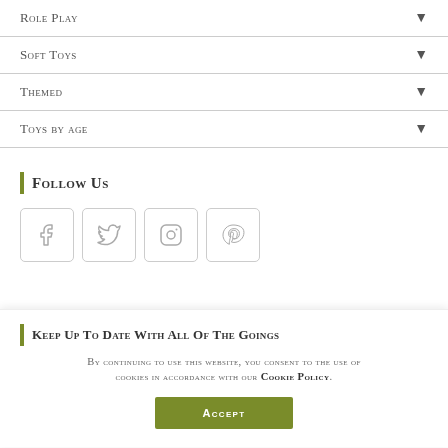Role Play
Soft Toys
Themed
Toys by age
Follow Us
[Figure (illustration): Four social media icon buttons: Facebook, Twitter, Instagram, Pinterest]
Keep Up To Date With All Of The Goings
By continuing to use this website, you consent to the use of cookies in accordance with our Cookie Policy.
ACCEPT